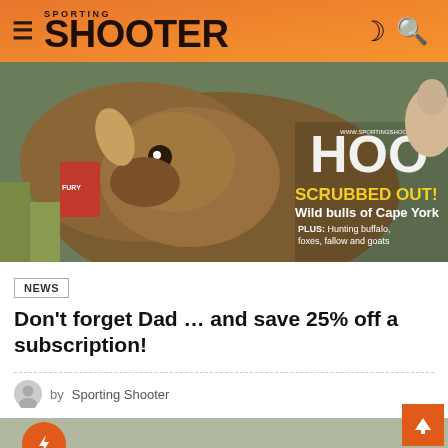SPORTING SHOOTER
[Figure (photo): Magazine cover of Sporting Shooter showing a deer/wallaby close-up with text 'SCRUBBED OUT! Wild bulls of Cape York' and 'PLUS: Hunting buffalo, foxes, fallow and goats']
NEWS
Don't forget Dad … and save 25% off a subscription!
by Sporting Shooter
[Figure (photo): Two men in camouflage hunting gear posing outdoors in a field, one holding a rifle]